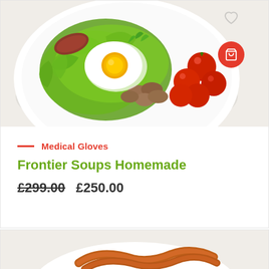[Figure (photo): Top-down view of a food plate with fried egg, green lettuce, cherry tomatoes, mushrooms, and other breakfast items on a white plate. A red circular cart button is visible top-right.]
Medical Gloves
Frontier Soups Homemade
£299.00  £250.00
[Figure (photo): Partial view of a second food plate at the bottom of the page, showing what appears to be bacon and other breakfast items.]